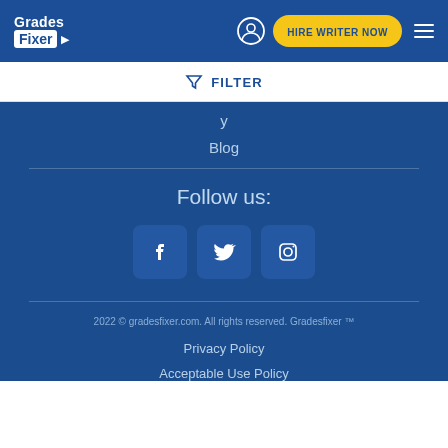Grades Fixer — HIRE WRITER NOW
FILTER
Blog
Follow us:
[Figure (illustration): Social media icons: Facebook, Twitter, Instagram]
2022 © gradesfixer.com. All rights reserved. Gradesfixer ™
Privacy Policy
Acceptable Use Policy